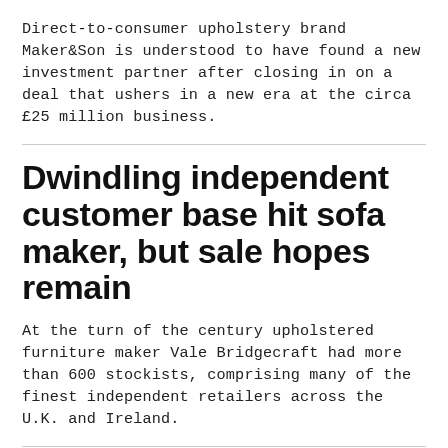Direct-to-consumer upholstery brand Maker&Son is understood to have found a new investment partner after closing in on a deal that ushers in a new era at the circa £25 million business.
Dwindling independent customer base hit sofa maker, but sale hopes remain
At the turn of the century upholstered furniture maker Vale Bridgecraft had more than 600 stockists, comprising many of the finest independent retailers across the U.K. and Ireland.
U.K. upholstery industry faces outsized impact of Felixstowe